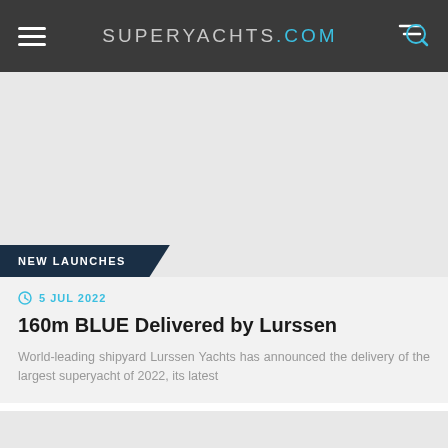SUPERYACHTS.COM
[Figure (photo): Large grey placeholder image area for superyacht article]
NEW LAUNCHES
5 JUL 2022
160m BLUE Delivered by Lurssen
World-leading shipyard Lurssen Yachts has announced the delivery of the largest superyacht of 2022, its latest
[Figure (photo): Second article image area with author badge showing Anna Solomon]